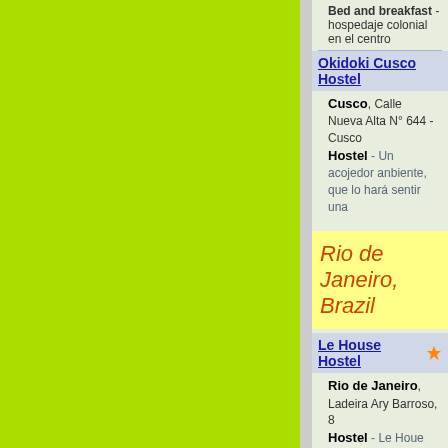Bed and breakfast - hospedaje colonial en el centro
Okidoki Cusco Hostel
Cusco, Calle Nueva Alta N° 644 - Cusco
Hostel - Un acojedor anbiente, que lo hará sentir una
Rio de Janeiro, Brazil
Le House Hostel
Rio de Janeiro, Ladeira Ary Barroso, 8
Hostel - Le Houe Hostel, Rio de Janeiro, offers basic a breakfast, on-site bar, and free Wi-Fi in all areas. Copa
Brazil Hostel
Rio de Janeiro, Rua Riachuelo 105
Hotel - hotel & hostel close to the Lapa arches, the live
El Misti Copacabana
Rio de Janeiro, Travessa Frederico Pamplona, 20
Hostel - Located just 5 minutes from Copacabana Bea offers 24-hour reception, free Wi-Fi in public areas and
Rio Backpackers
Rio de Janeiro, Travessa Santa Leocadia 38
Hostel - Hostel Located in Copacabana, only 4 blocks